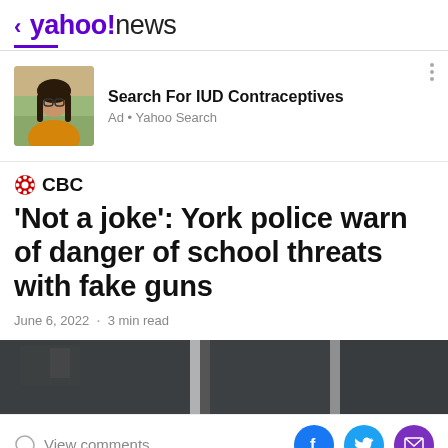< yahoo!news
[Figure (screenshot): Ad card with photo of young woman in yellow sweater. Text: Search For IUD Contraceptives. Ad • Yahoo Search.]
Search For IUD Contraceptives
Ad • Yahoo Search
'Not a joke': York police warn of danger of school threats with fake guns
June 6, 2022 · 3 min read
[Figure (photo): Partial photo showing what appears to be a dark car window or vehicle exterior.]
View comments